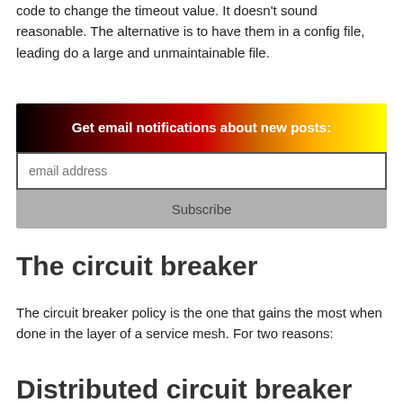code to change the timeout value. It doesn't sound reasonable. The alternative is to have them in a config file, leading do a large and unmaintainable file.
[Figure (other): Email subscription widget with gradient header (black to yellow through red/orange) reading 'Get email notifications about new posts:', an email address input field, and a Subscribe button.]
The circuit breaker
The circuit breaker policy is the one that gains the most when done in the layer of a service mesh. For two reasons:
Distributed circuit breaker